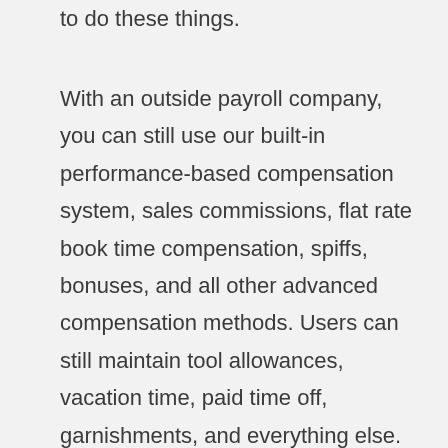to do these things.
With an outside payroll company, you can still use our built-in performance-based compensation system, sales commissions, flat rate book time compensation, spiffs, bonuses, and all other advanced compensation methods. Users can still maintain tool allowances, vacation time, paid time off, garnishments, and everything else. The financials and job costing reports are 100% complete; as if payroll was completely processed inside Total Office